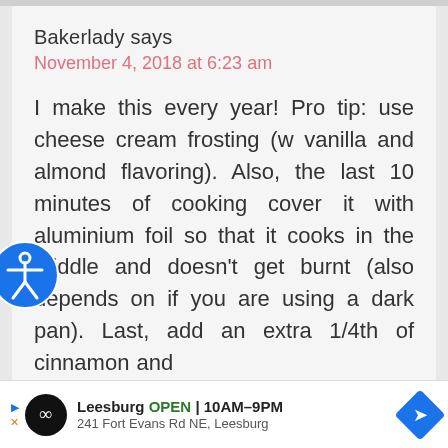Bakerlady says
November 4, 2018 at 6:23 am
I make this every year! Pro tip: use cheese cream frosting (w vanilla and almond flavoring). Also, the last 10 minutes of cooking cover it with aluminium foil so that it cooks in the middle and doesn't get burnt (also depends on if you are using a dark pan). Last, add an extra 1/4th of cinnamon and
[Figure (other): Accessibility icon — blue circle with white person figure]
Leesburg OPEN | 10AM–9PM 241 Fort Evans Rd NE, Leesburg